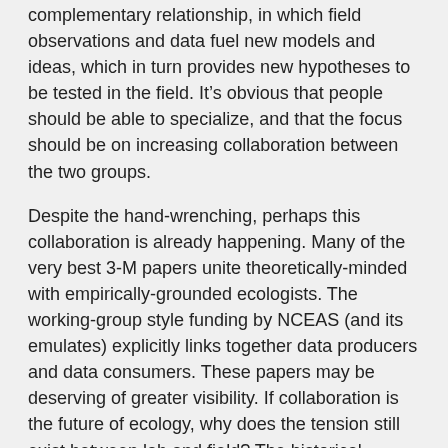complementary relationship, in which field observations and data fuel new models and ideas, which in turn provides new hypotheses to be tested in the field. It's obvious that people should be able to specialize, and that the focus should be on increasing collaboration between the two groups.
Despite the hand-wrenching, perhaps this collaboration is already happening. Many of the very best 3-M papers unite theoretically-minded with empirically-grounded ecologists. The working-group style funding by NCEAS (and its emulates) explicitly links together data producers and data consumers. These papers may be deserving of greater visibility. If collaboration is the future of ecology, why does the tension still exist between lab and field? The historical tension was not really about the laboratory vs. the field, but rather about scientific philosophy, and we think this holds true today. Ecology has tangibly moved towards hypothesis-driven research, at the expense of inductive science, which was more common in the past. The tensions between “indoor ecology” and field ecology have been conflated with changes in the philosophy of modern ecology, in the difficulties of obtaining funding and publishing as a modern